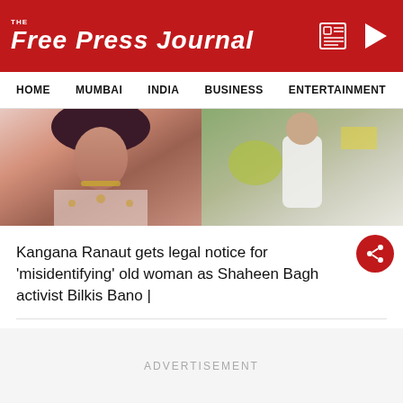THE FREE PRESS JOURNAL
HOME  MUMBAI  INDIA  BUSINESS  ENTERTAINMENT  SPO
[Figure (photo): Two-panel image strip: left panel shows a woman in embroidered pink/gold outfit with jewelry and dark hair; right panel shows a person in white clothing outdoors.]
Kangana Ranaut gets legal notice for 'misidentifying' old woman as Shaheen Bagh activist Bilkis Bano |
ADVERTISEMENT